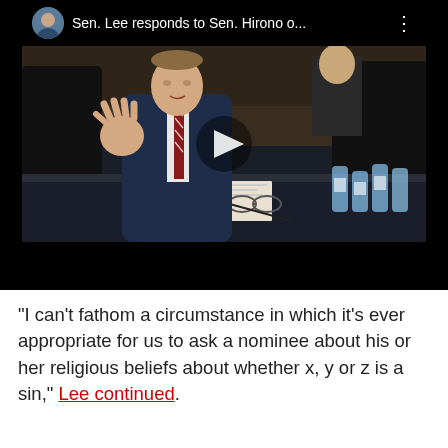[Figure (screenshot): YouTube video thumbnail showing Sen. Lee speaking at a Senate hearing, gesturing with his hand, wearing a dark suit and striped tie. A play button is visible in the center. The top bar shows a channel avatar, the title 'Sen. Lee responds to Sen. Hirono o...' and a three-dot menu icon.]
"I can't fathom a circumstance in which it's ever appropriate for us to ask a nominee about his or her religious beliefs about whether x, y or z is a sin," Lee continued.